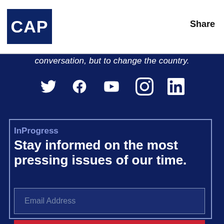CAP  Share
conversation, but to change the country.
[Figure (infographic): Social media icons: Twitter, Facebook, YouTube, Instagram, LinkedIn in white on dark blue background]
InProgress
Stay informed on the most pressing issues of our time.
Email Address